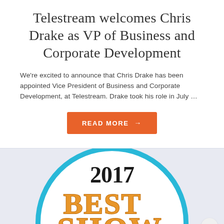Telestream welcomes Chris Drake as VP of Business and Corporate Development
We're excited to announce that Chris Drake has been appointed Vice President of Business and Corporate Development, at Telestream. Drake took his role in July …
[Figure (illustration): Orange button with white uppercase text 'READ MORE' and a right arrow, on a white background]
[Figure (logo): 2017 Best of Show award badge: circular blue-outlined badge on light blue/grey background showing '2017' in black bold serif text and 'BEST of SHOW' in large orange block letters with drop shadow]